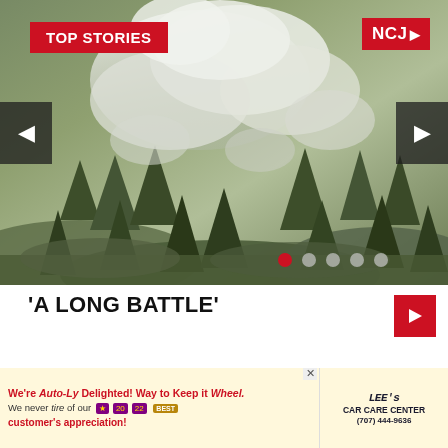[Figure (photo): Aerial photo of a forest fire with white smoke billowing above a forested hillside with evergreen and deciduous trees]
'A LONG BATTLE'
[Figure (infographic): Advertisement for Lee's Car Care Center: 'We're Auto-Ly Delighted! Way to Keep it Wheel.' with stars badges and phone number (707) 444-9636]